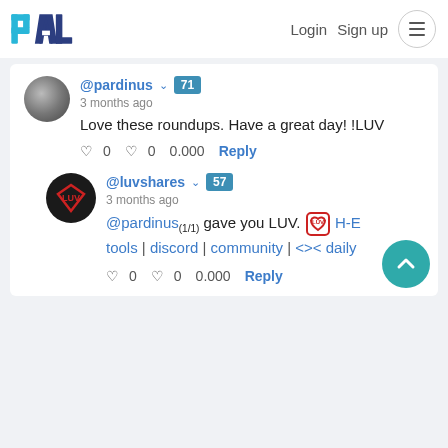PAL   Login   Sign up
@pardinus 71
3 months ago
Love these roundups. Have a great day! !LUV
♥ 0   ♥ 0   0.000   Reply
@luvshares 57
3 months ago
@pardinus(1/1) gave you LUV. H-E tools | discord | community | <>< daily
♥ 0   ♥ 0   0.000   Reply